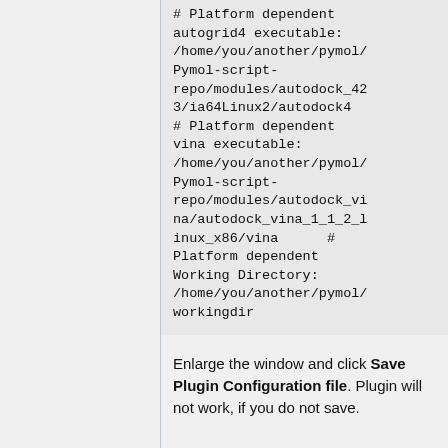# Platform dependent autogrid4 executable: /home/you/another/pymol/Pymol-script-repo/modules/autodock_423/ia64Linux2/autodock4
# Platform dependent vina executable: /home/you/another/pymol/Pymol-script-repo/modules/autodock_vina/autodock_vina_1_1_2_linux_x86/vina      # Platform dependent
Working Directory: /home/you/another/pymol/workingdir
Enlarge the window and click Save Plugin Configuration file. Plugin will not work, if you do not save.